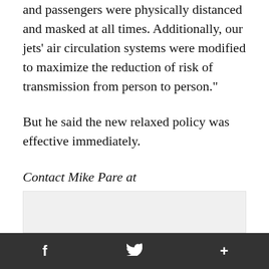and passengers were physically distanced and masked at all times. Additionally, our jets' air circulation systems were modified to maximize the reduction of risk of transmission from person to person."
But he said the new relaxed policy was effective immediately.
Contact Mike Pare at mpare@timesfreepress.com. Follow him on Twitter @MikePareTFP.
[Figure (other): Gray advertisement banner placeholder]
f  [Twitter bird icon]  +